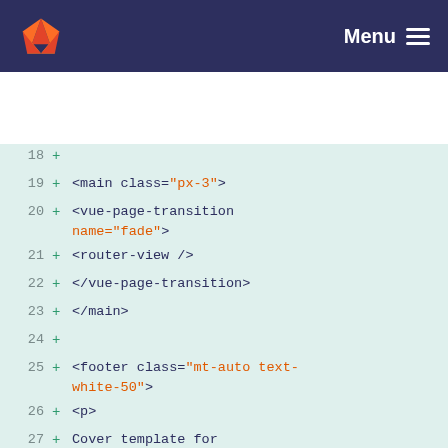GitLab — Menu
[Figure (screenshot): Code diff view showing HTML template lines 18-31 with line numbers, plus signs for additions, and syntax-highlighted code on a light green background.]